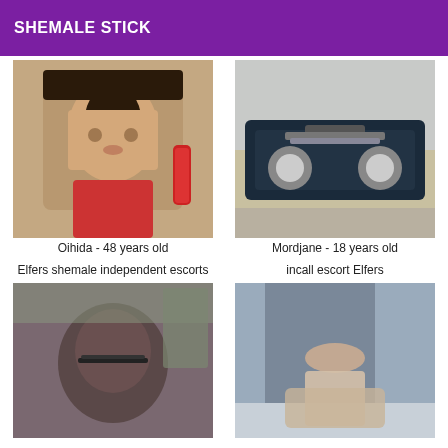SHEMALE STICK
[Figure (photo): Portrait photo of a woman with dark curly hair holding a red rose]
Oihida - 48 years old
[Figure (photo): Photo of a lifted dark blue pickup truck on a street with Cyrillic text on the side]
Mordjane - 18 years old
Elfers shemale independent escorts
incall escort Elfers
[Figure (photo): Blurry close-up photo of a person wearing glasses inside a car]
[Figure (photo): Photo of a person lying on a bed in a blue-tinted room]